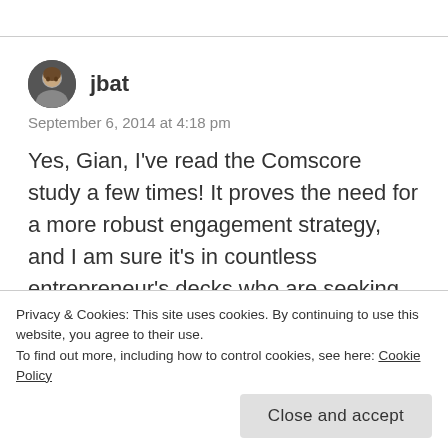jbat
September 6, 2014 at 4:18 pm
Yes, Gian, I've read the Comscore study a few times! It proves the need for a more robust engagement strategy, and I am sure it's in countless entrepreneur's decks who are seeking funding for their re-engagement play....among many other thing!
Privacy & Cookies: This site uses cookies. By continuing to use this website, you agree to their use.
To find out more, including how to control cookies, see here: Cookie Policy
Close and accept